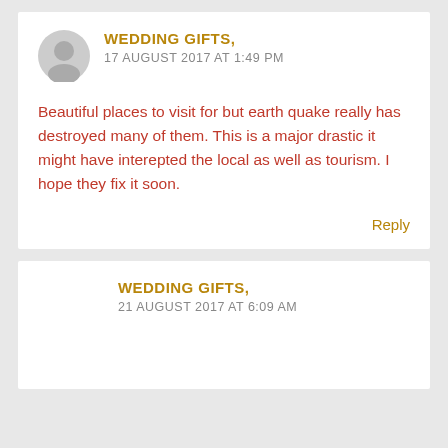WEDDING GIFTS,
17 AUGUST 2017 AT 1:49 PM
Beautiful places to visit for but earth quake really has destroyed many of them. This is a major drastic it might have interepted the local as well as tourism. I hope they fix it soon.
Reply
WEDDING GIFTS,
21 AUGUST 2017 AT 6:09 AM